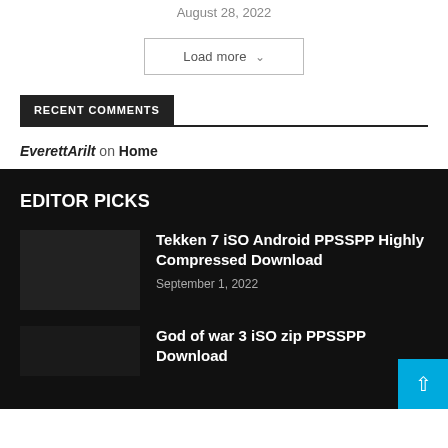August 28, 2022
Load more ∨
RECENT COMMENTS
EverettArilt on Home
EDITOR PICKS
Tekken 7 iSO Android PPSSPP Highly Compressed Download
September 1, 2022
God of war 3 iSO zip PPSSPP Download